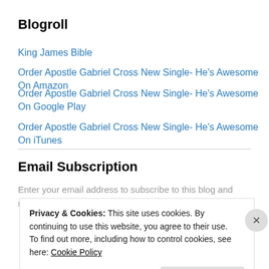Blogroll
King James Bible
Order Apostle Gabriel Cross New Single- He's Awesome On Amazon
Order Apostle Gabriel Cross New Single- He's Awesome On Google Play
Order Apostle Gabriel Cross New Single- He's Awesome On iTunes
Email Subscription
Enter your email address to subscribe to this blog and receive notifications of new posts by email.
Privacy & Cookies: This site uses cookies. By continuing to use this website, you agree to their use.
To find out more, including how to control cookies, see here: Cookie Policy
Close and accept